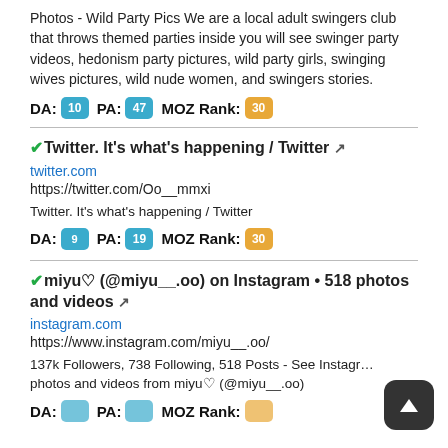Photos - Wild Party Pics We are a local adult swingers club that throws themed parties inside you will see swinger party videos, hedonism party pictures, wild party girls, swinging wives pictures, wild nude women, and swingers stories.
DA: 10  PA: 47  MOZ Rank: 30
✔Twitter. It's what's happening / Twitter 🔗
twitter.com
https://twitter.com/Oo__mmxi
Twitter. It's what's happening / Twitter
DA: 9  PA: 19  MOZ Rank: 30
✔miyu♡ (@miyu__.oo) on Instagram • 518 photos and videos 🔗
instagram.com
https://www.instagram.com/miyu__.oo/
137k Followers, 738 Following, 518 Posts - See Instagram photos and videos from miyu♡ (@miyu__.oo)
DA:   PA:   MOZ Rank: